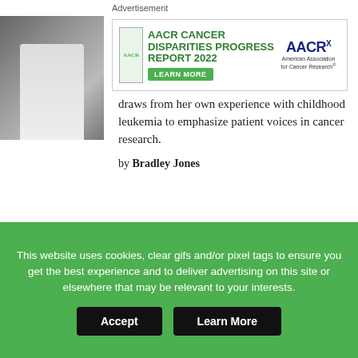Advertisement
[Figure (other): AACR Cancer Disparities Progress Report 2022 advertisement banner with green text and AACR logo]
[Figure (photo): Photo of a person in a lab coat with gloves working in a laboratory]
draws from her own experience with childhood leukemia to emphasize patient voices in cancer research.
by Bradley Jones
SURVIVOR PROFILE
A Return to Carnival
With a renewed sense of purpose, stage IV lung cancer survivor Oswald Bateman returns to his parental
[Figure (photo): Photo of a smiling man outdoors]
This website uses cookies, clear gifs and/or pixel tags to ensure you get the best experience and to deliver advertising on this site or elsewhere that may be relevant to your interests.
Accept
Learn More